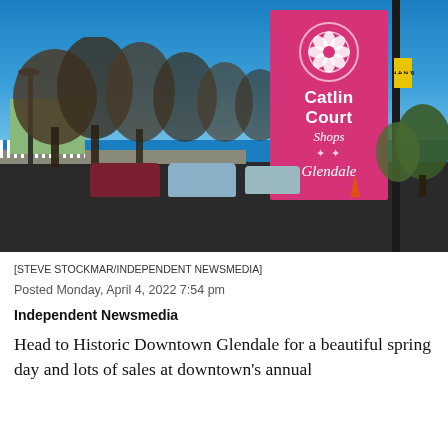[Figure (photo): Outdoor street scene in Historic Downtown Glendale with a prominent pink banner reading 'Catlin Court Shops Glendale' mounted on a black pole. Blue sky, bare trees, parked cars, and a road visible in the background.]
[STEVE STOCKMAR/INDEPENDENT NEWSMEDIA]
Posted Monday, April 4, 2022 7:54 pm
Independent Newsmedia
Head to Historic Downtown Glendale for a beautiful spring day and lots of sales at downtown's annual